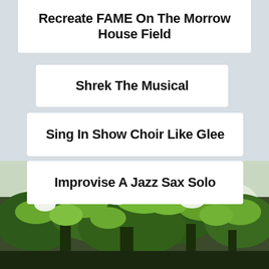Recreate FAME On The Morrow House Field
Shrek The Musical
Sing In Show Choir Like Glee
Improvise A Jazz Sax Solo
[Figure (photo): Photograph of green leafy trees with branches against a bright sky, taken from below looking up.]